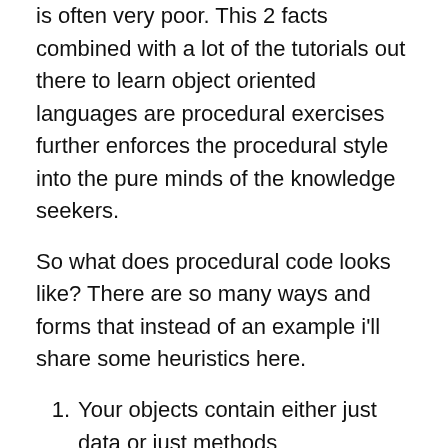is often very poor. This 2 facts combined with a lot of the tutorials out there to learn object oriented languages are procedural exercises further enforces the procedural style into the pure minds of the knowledge seekers.
So what does procedural code looks like? There are so many ways and forms that instead of an example i'll share some heuristics here.
Your objects contain either just data or just methods
Your objects expose data with the sole purpose to be used by someone else
Almost all of your logic is on static methods
From procedural to